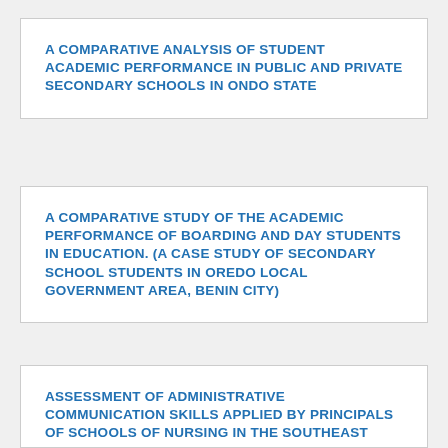A COMPARATIVE ANALYSIS OF STUDENT ACADEMIC PERFORMANCE IN PUBLIC AND PRIVATE SECONDARY SCHOOLS IN ONDO STATE
A COMPARATIVE STUDY OF THE ACADEMIC PERFORMANCE OF BOARDING AND DAY STUDENTS IN EDUCATION. (A CASE STUDY OF SECONDARY SCHOOL STUDENTS IN OREDO LOCAL GOVERNMENT AREA, BENIN CITY)
ASSESSMENT OF ADMINISTRATIVE COMMUNICATION SKILLS APPLIED BY PRINCIPALS OF SCHOOLS OF NURSING IN THE SOUTHEAST ZONE OF NIGERIA